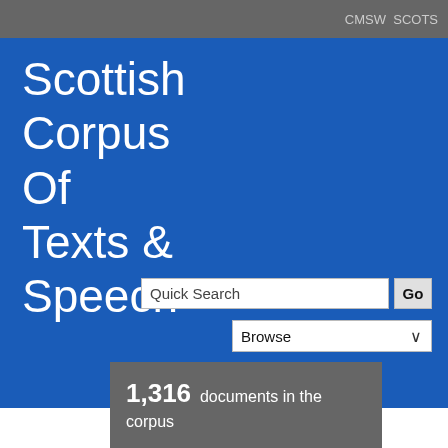CMSW SCOTS
Scottish Corpus Of Texts & Speech
Quick Search
Go
Browse
1,316 documents in the corpus
4,587,602 total words